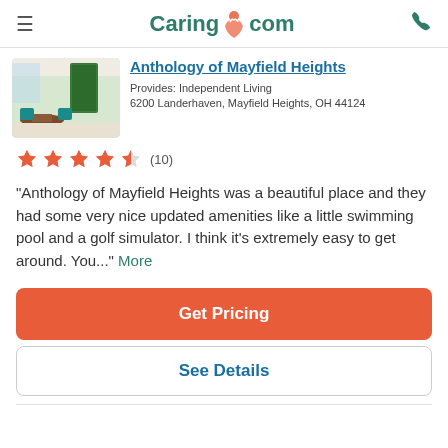Caring.com
Anthology of Mayfield Heights
Provides: Independent Living
6200 Landerhaven, Mayfield Heights, OH 44124
[Figure (other): Interior photo of Anthology of Mayfield Heights lobby]
[Figure (other): Star rating: 4.5 out of 5 stars (10 reviews)]
"Anthology of Mayfield Heights was a beautiful place and they had some very nice updated amenities like a little swimming pool and a golf simulator. I think it's extremely easy to get around. You..." More
Get Pricing
See Details